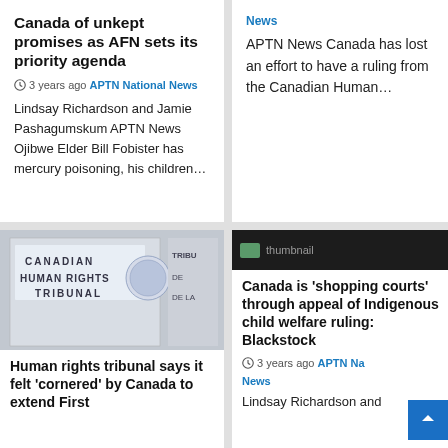Canada of unkept promises as AFN sets its priority agenda
3 years ago  APTN National News
Lindsay Richardson and Jamie Pashagumskum APTN News Ojibwe Elder Bill Fobister has mercury poisoning, his children…
News
APTN News Canada has lost an effort to have a ruling from the Canadian Human…
[Figure (photo): Photo of Canadian Human Rights Tribunal sign with coat of arms and French text]
Human rights tribunal says it felt 'cornered' by Canada to extend First
[Figure (screenshot): Thumbnail image placeholder with dark bar]
Canada is 'shopping courts' through appeal of Indigenous child welfare ruling: Blackstock
3 years ago  APTN National News
Lindsay Richardson and